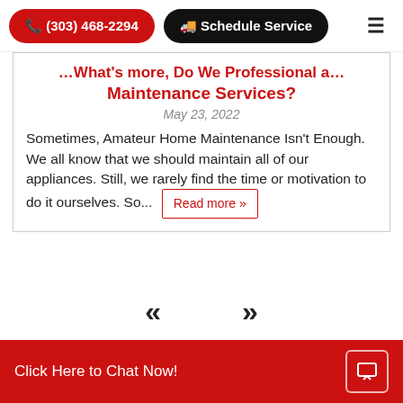(303) 468-2294  Schedule Service
Maintenance Services?
May 23, 2022
Sometimes, Amateur Home Maintenance Isn't Enough. We all know that we should maintain all of our appliances. Still, we rarely find the time or motivation to do it ourselves. So...  Read more »
« »
SEE ALL HINTS & TIPS
Click Here to Chat Now!